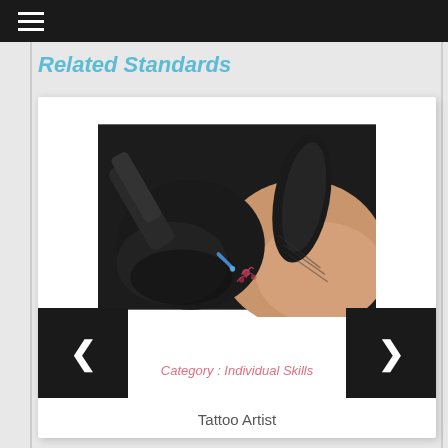≡
Related Standards
[Figure (photo): Close-up photo of a tattoo artist wearing black gloves using a tattoo machine to apply a tattoo on skin, showing floral tattoo design being applied]
Category : Individual Skills
Tattoo Artist